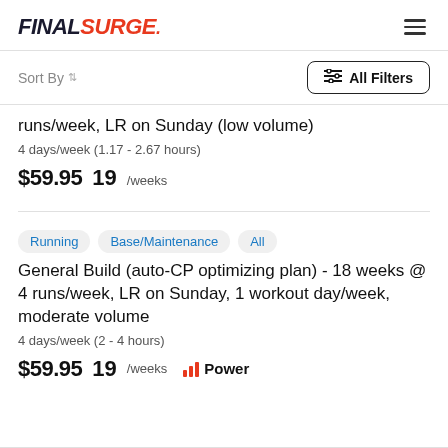FINAL SURGE
Sort By  All Filters
runs/week, LR on Sunday (low volume)
4 days/week (1.17 - 2.67 hours)
$59.95  19 /weeks
Running  Base/Maintenance  All
General Build (auto-CP optimizing plan) - 18 weeks @ 4 runs/week, LR on Sunday, 1 workout day/week, moderate volume
4 days/week (2 - 4 hours)
$59.95  19 /weeks  Power